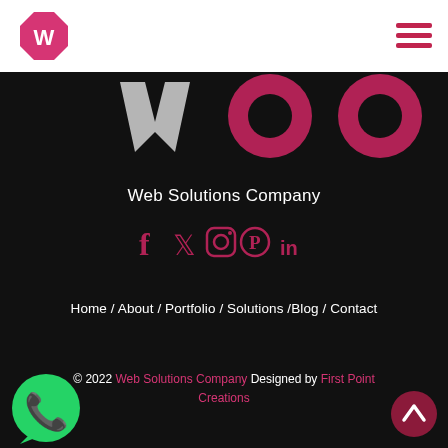[Figure (logo): Pink octagonal logo with a white W letter inside, top-left of white header bar]
[Figure (other): Hamburger menu icon (three pink horizontal lines) top-right of white header]
[Figure (illustration): Large decorative dark pink letters 'woo' style logo graphics on black background]
Web Solutions Company
[Figure (other): Social media icons: Facebook, Twitter, Instagram, Pinterest, LinkedIn — all in dark pink/crimson on black background]
Home / About / Portfolio / Solutions /Blog / Contact
© 2022 Web Solutions Company Designed by First Point Creations
[Figure (logo): WhatsApp green circular logo bottom-left]
[Figure (other): Dark pink circular scroll-to-top button bottom-right with upward chevron]